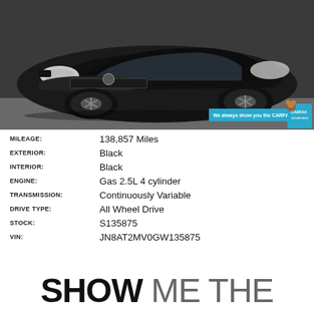[Figure (photo): Front view of a black Nissan Rogue SUV in a parking lot, with a CARFAX banner in the bottom right corner reading 'We always show you the CARFAX®']
| Attribute | Value |
| --- | --- |
| MILEAGE: | 138,857 Miles |
| EXTERIOR: | Black |
| INTERIOR: | Black |
| ENGINE: | Gas 2.5L 4 cylinder |
| TRANSMISSION: | Continuously Variable |
| DRIVE TYPE: | All Wheel Drive |
| STOCK: | S135875 |
| VIN: | JN8AT2MV0GW135875 |
SHOW ME THE